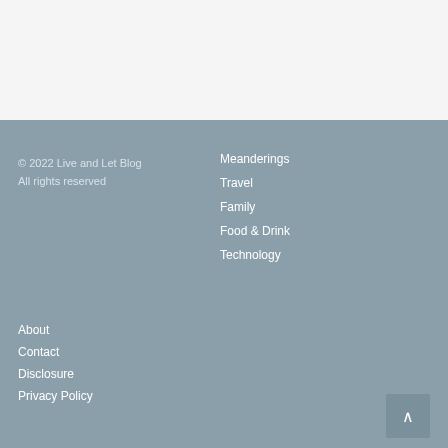© 2022 Live and Let Blog
All rights reserved
Meanderings
Travel
Family
Food & Drink
Technology
About
Contact
Disclosure
Privacy Policy